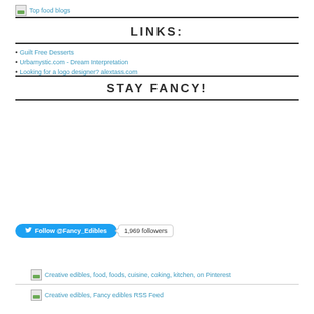Top food blogs
LINKS:
Guilt Free Desserts
Urbamystic.com - Dream Interpretation
Looking for a logo designer? alextass.com
STAY FANCY!
[Figure (other): Twitter Follow @Fancy_Edibles button with 1,969 followers count]
[Figure (other): Creative edibles, food, foods, cuisine, coking, kitchen, on Pinterest image link]
[Figure (other): Creative edibles, Fancy edibles RSS Feed image link]